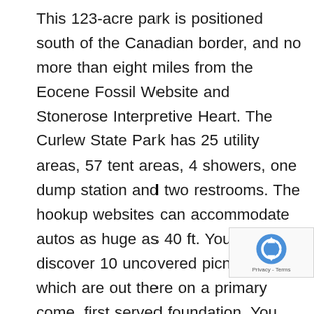This 123-acre park is positioned south of the Canadian border, and no more than eight miles from the Eocene Fossil Website and Stonerose Interpretive Heart. The Curlew State Park has 25 utility areas, 57 tent areas, 4 showers, one dump station and two restrooms. The hookup websites can accommodate autos as huge as 40 ft. You may discover 10 uncovered picnic tables which are out there on a primary come, first served foundation. You are able to do some freshwater fishing within the 5.5-mile lake. The favored catches embrace tiger muskie, bass and trout. Chicken watching can be a favourite exercise as there are heron, bald eagle and osprey nesting. The opposite actions embrace grilling, climbing, boating, biking, swimming, wildlife watching and water snowboarding. You may additionally discover an amphitheater. Ensure you have a Uncover Go for daytime use. 2. Boundary Dam Campground It’s positioned simply 107 miles north of Spokane, and the Pond Oreillo river in Washington. You may discover